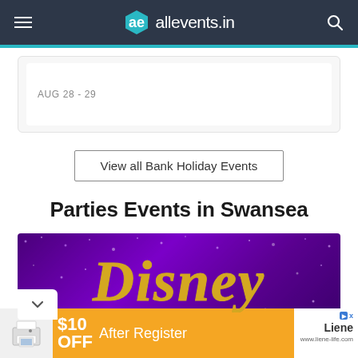ae allevents.in
AUG 28 - 29
View all Bank Holiday Events
Parties Events in Swansea
[Figure (photo): Disney themed event banner on purple/violet glittery background with gold Disney script text]
[Figure (infographic): Advertisement banner for Liene photo printer: $10 OFF After Register, www.liene-life.com]